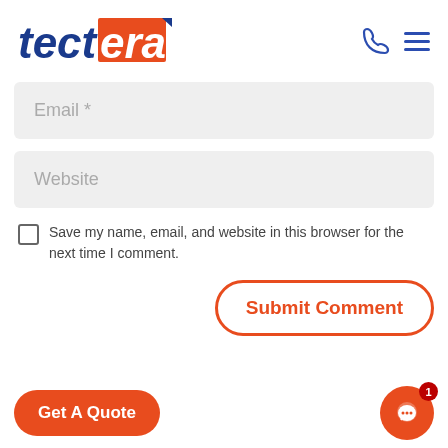[Figure (logo): Tectera logo: 'tect' in dark blue italic bold, 'era' on orange/red background in white italic bold, with a small dark blue triangular accent top right]
Email *
Website
Save my name, email, and website in this browser for the next time I comment.
Submit Comment
Get A Quote